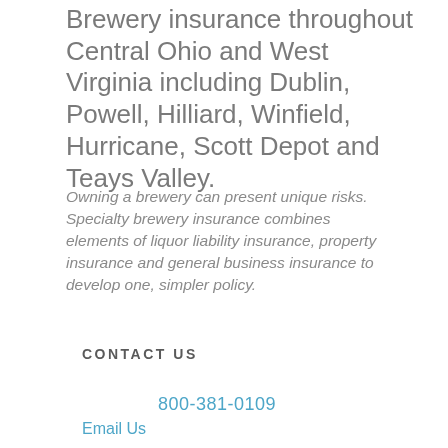Brewery insurance throughout Central Ohio and West Virginia including Dublin, Powell, Hilliard, Winfield, Hurricane, Scott Depot and Teays Valley.
Owning a brewery can present unique risks. Specialty brewery insurance combines elements of liquor liability insurance, property insurance and general business insurance to develop one, simpler policy.
CONTACT US
800-381-0109
Email Us